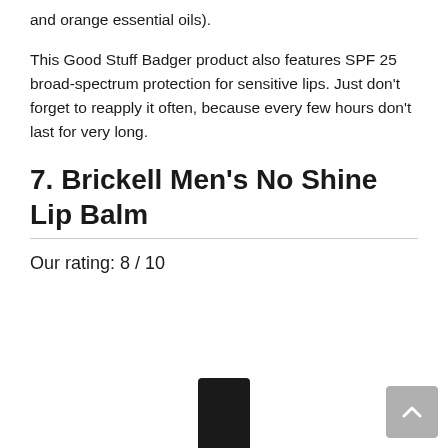and orange essential oils).
This Good Stuff Badger product also features SPF 25 broad-spectrum protection for sensitive lips. Just don't forget to reapply it often, because every few hours don't last for very long.
7. Brickell Men's No Shine Lip Balm
Our rating: 8 / 10
[Figure (photo): Photo of a black cylindrical lip balm container (cap visible), Brickell Men's No Shine Lip Balm product]